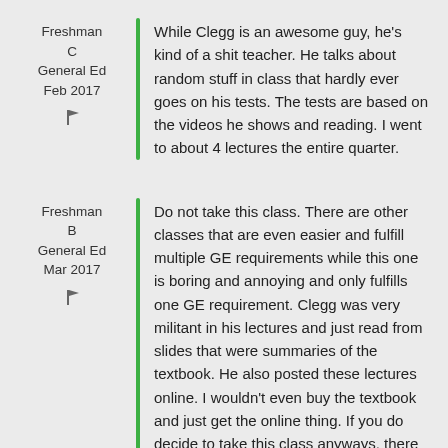Freshman
C
General Ed
Feb 2017
While Clegg is an awesome guy, he's kind of a shit teacher. He talks about random stuff in class that hardly ever goes on his tests. The tests are based on the videos he shows and reading. I went to about 4 lectures the entire quarter.
Freshman
B
General Ed
Mar 2017
Do not take this class. There are other classes that are even easier and fulfill multiple GE requirements while this one is boring and annoying and only fulfills one GE requirement. Clegg was very militant in his lectures and just read from slides that were summaries of the textbook. He also posted these lectures online. I wouldn't even buy the textbook and just get the online thing. If you do decide to take this class anyways, there is no reason to actually go to class, just go for the first day, midterm, and final.